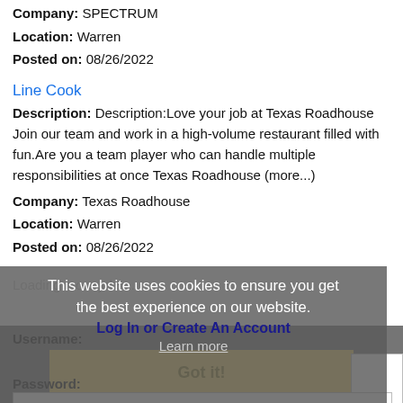Company: SPECTRUM
Location: Warren
Posted on: 08/26/2022
Line Cook
Description: Description:Love your job at Texas Roadhouse Join our team and work in a high-volume restaurant filled with fun.Are you a team player who can handle multiple responsibilities at once Texas Roadhouse (more...)
Company: Texas Roadhouse
Location: Warren
Posted on: 08/26/2022
Loading more jobs...
This website uses cookies to ensure you get the best experience on our website.
Log In or Create An Account
Learn more
Username:
Got it!
Password: